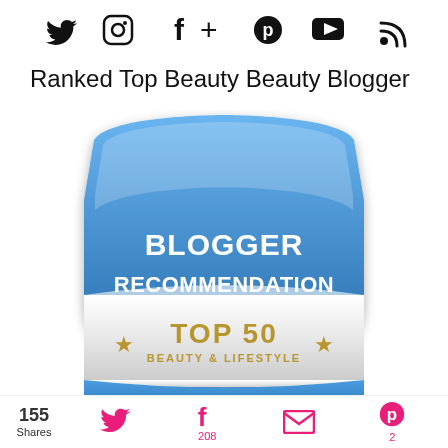[Figure (infographic): Row of social media icons: Twitter bird, Instagram camera, Facebook f, plus sign, Pinterest p, YouTube play button, RSS feed icon]
Ranked Top Beauty Beauty Blogger
[Figure (infographic): Blue shield/badge award graphic reading BLOGGER RECOMMENDATION TOP 50 BEAUTY & LIFESTYLE with gold stars and 2018 at bottom]
155 Shares  [Twitter icon]  [Facebook f icon] 208  [Email icon]  [Pinterest icon] 2